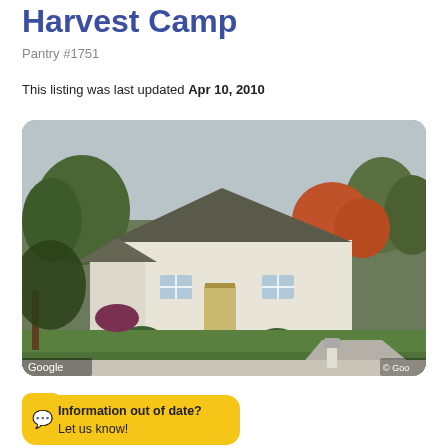Harvest Camp
Pantry #1751
This listing was last updated Apr 10, 2010
[Figure (photo): Google Street View image of a single-story ranch house with lawn, driveway, and autumn trees. Google and copyright watermarks visible.]
VIEW OPEN TIMES
Information out of date? Let us know!